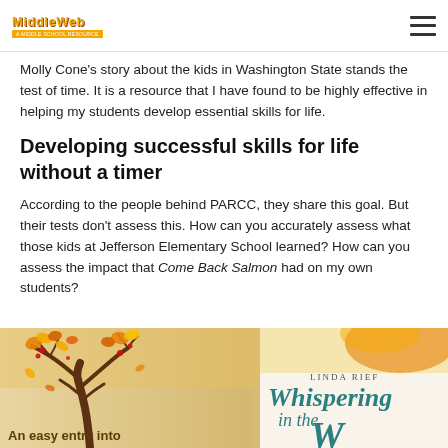MiddleWeb
Molly Cone's story about the kids in Washington State stands the test of time. It is a resource that I have found to be highly effective in helping my students develop essential skills for life.
Developing successful skills for life without a timer
According to the people behind PARCC, they share this goal. But their tests don't assess this. How can you accurately assess what those kids at Jefferson Elementary School learned? How can you assess the impact that Come Back Salmon had on my own students?
[Figure (illustration): Book cover image showing an autumn tree with falling leaves on the left and a book cover titled 'Whispering in the Wind' by Linda Rief on the right. Caption text reads 'An easy entry into']